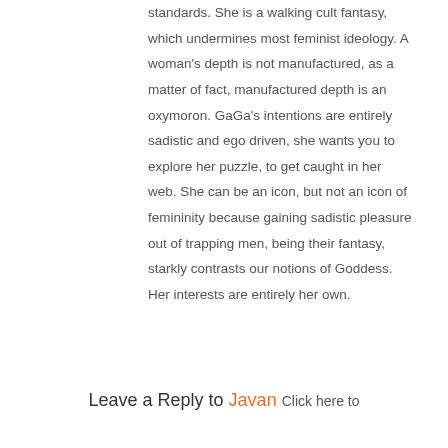standards. She is a walking cult fantasy, which undermines most feminist ideology. A woman's depth is not manufactured, as a matter of fact, manufactured depth is an oxymoron. GaGa's intentions are entirely sadistic and ego driven, she wants you to explore her puzzle, to get caught in her web. She can be an icon, but not an icon of femininity because gaining sadistic pleasure out of trapping men, being their fantasy, starkly contrasts our notions of Goddess. Her interests are entirely her own.
Leave a Reply to Javan Click here to